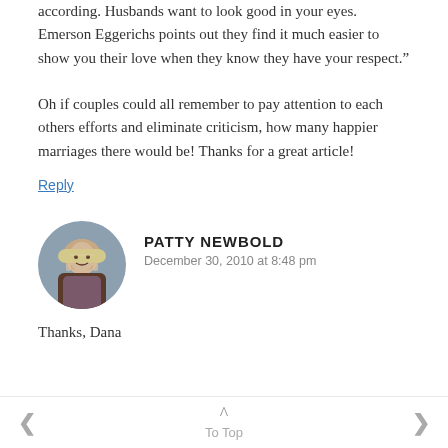according. Husbands want to look good in your eyes. Emerson Eggerichs points out they find it much easier to show you their love when they know they have your respect.” Oh if couples could all remember to pay attention to each others efforts and eliminate criticism, how many happier marriages there would be! Thanks for a great article!
Reply
PATTY NEWBOLD
December 30, 2010 at 8:48 pm
Thanks, Dana
< To Top >